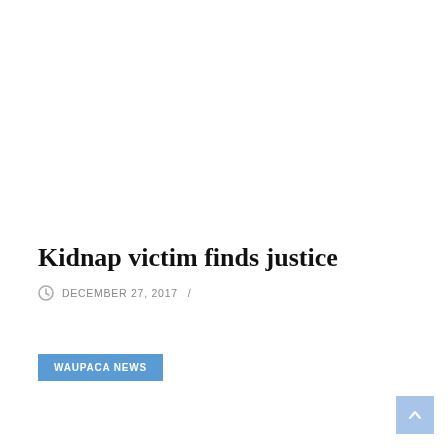Kidnap victim finds justice
DECEMBER 27, 2017  /
WAUPACA NEWS